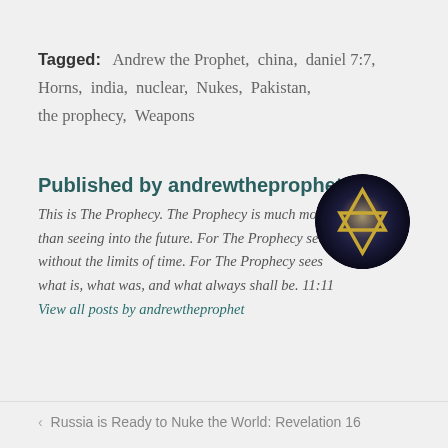Tagged:  Andrew the Prophet,  china,  daniel 7:7,  Horns,  india,  nuclear,  Nukes,  Pakistan,  the prophecy,  Weapons
Published by andrewtheprophet
[Figure (illustration): Circular avatar image showing a golden Star of David on a dark cosmic/nebula background]
This is The Prophecy. The Prophecy is much more than seeing into the future. For The Prophecy sees without the limits of time. For The Prophecy sees what is, what was, and what always shall be. 11:11 View all posts by andrewtheprophet
< Russia is Ready to Nuke the World: Revelation 16